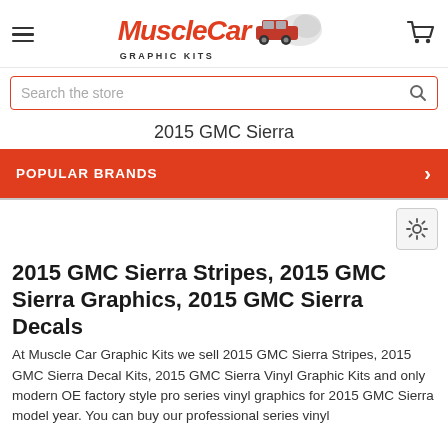MuscleCar GRAPHIC KITS
Search the store
2015 GMC Sierra
POPULAR BRANDS
2015 GMC Sierra Stripes, 2015 GMC Sierra Graphics, 2015 GMC Sierra Decals
At Muscle Car Graphic Kits we sell 2015 GMC Sierra Stripes, 2015 GMC Sierra Decal Kits, 2015 GMC Sierra Vinyl Graphic Kits and only modern OE factory style pro series vinyl graphics for 2015 GMC Sierra model year. You can buy our professional series vinyl